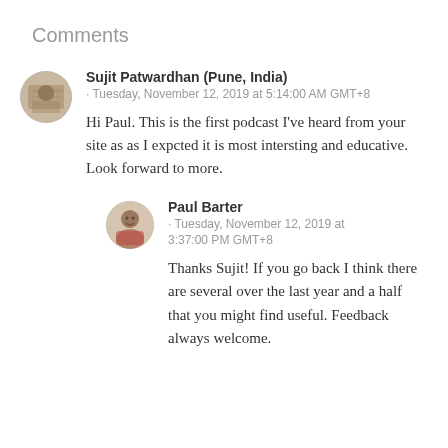Comments
Sujit Patwardhan (Pune, India)
· Tuesday, November 12, 2019 at 5:14:00 AM GMT+8

Hi Paul. This is the first podcast I've heard from your site as as I expcted it is most intersting and educative. Look forward to more.
Paul Barter
· Tuesday, November 12, 2019 at 3:37:00 PM GMT+8

Thanks Sujit! If you go back I think there are several over the last year and a half that you might find useful. Feedback always welcome.